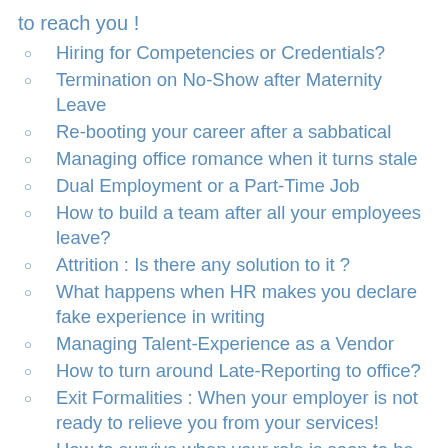to reach you !
Hiring for Competencies or Credentials?
Termination on No-Show after Maternity Leave
Re-booting your career after a sabbatical
Managing office romance when it turns stale
Dual Employment or a Part-Time Job
How to build a team after all your employees leave?
Attrition : Is there any solution to it ?
What happens when HR makes you declare fake experience in writing
Managing Talent-Experience as a Vendor
How to turn around Late-Reporting to office?
Exit Formalities : When your employer is not ready to relieve you from your services!
How to survive when your role is soon to be eliminated ?
What happens when an Open-Door meeting goes wrong?